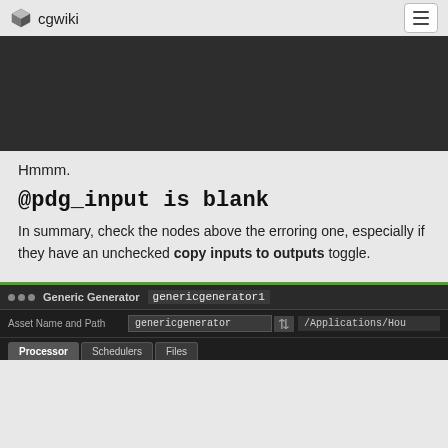cgwiki
[Figure (screenshot): Dark/black content area, likely a video or image frame]
Hmmm.
@pdg_input is blank
In summary, check the nodes above the erroring one, especially if they have an unchecked copy inputs to outputs toggle.
[Figure (screenshot): Generic Generator node interface showing genericgenerator1, Asset Name and Path field with genericgenerator value, /Applications/Hou... path, and Processor, Schedulers, Files tabs]